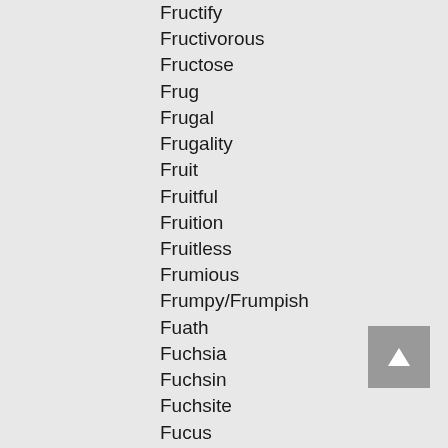Fructify
Fructivorous
Fructose
Frug
Frugal
Frugality
Fruit
Fruitful
Fruition
Fruitless
Frumious
Frumpy/Frumpish
Fuath
Fuchsia
Fuchsin
Fuchsite
Fucus
Fud
Fugacious
Fugitive